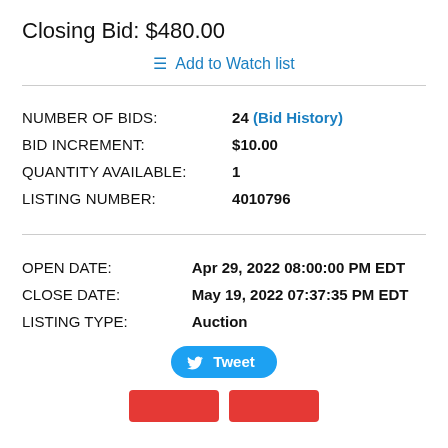Closing Bid: $480.00
≡ Add to Watch list
| Field | Value |
| --- | --- |
| NUMBER OF BIDS: | 24 (Bid History) |
| BID INCREMENT: | $10.00 |
| QUANTITY AVAILABLE: | 1 |
| LISTING NUMBER: | 4010796 |
| Field | Value |
| --- | --- |
| OPEN DATE: | Apr 29, 2022 08:00:00 PM EDT |
| CLOSE DATE: | May 19, 2022 07:37:35 PM EDT |
| LISTING TYPE: | Auction |
Tweet
[Figure (other): Two red buttons at the bottom, partially visible]